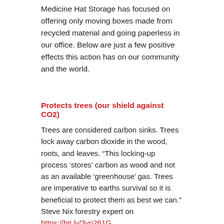Medicine Hat Storage has focused on offering only moving boxes made from recycled material and going paperless in our office. Below are just a few positive effects this action has on our community and the world.
Protects trees (our shield against CO2)
Trees are considered carbon sinks. Trees lock away carbon dioxide in the wood, roots, and leaves. “This locking-up process ‘stores’ carbon as wood and not as an available ‘greenhouse’ gas. Trees are imperative to earths survival so it is beneficial to protect them as best we can.” Steve Nix forestry expert on https://bit.ly/3vn261G .
Reduces paper waste
According to https://bit.ly/3MdN6tR, in 2022, paper mills will produce about 500 million tons of paper and cardboard. Paper waste produces pollution which is toxic to air, water, and soil. Paper is produced by using chlorine-based bleaches so when paper rots